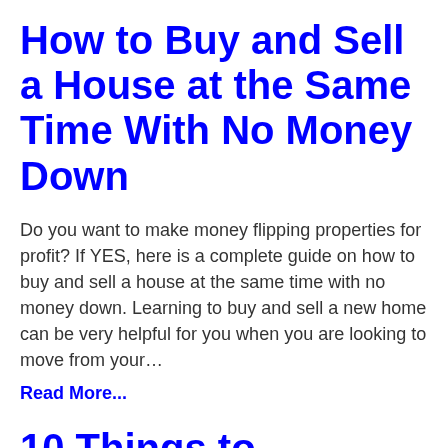How to Buy and Sell a House at the Same Time With No Money Down
Do you want to make money flipping properties for profit? If YES, here is a complete guide on how to buy and sell a house at the same time with no money down. Learning to buy and sell a new home can be very helpful for you when you are looking to move from your…
Read More...
10 Things to Consider When